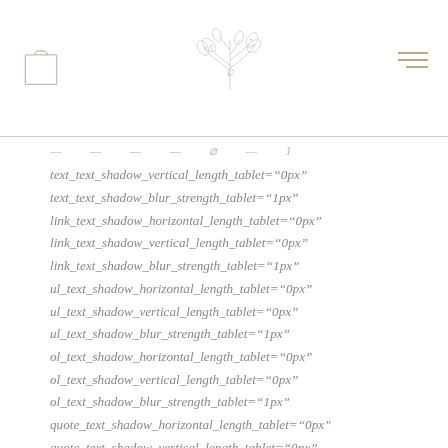[Figure (illustration): Shopping bag icon (outline) on the left, decorative botanical/olive branch illustration in the center, and hamburger menu icon (three lines) on the right — website header navigation]
text_text_shadow_vertical_length_tablet="0px"
text_text_shadow_blur_strength_tablet="1px"
link_text_shadow_horizontal_length_tablet="0px"
link_text_shadow_vertical_length_tablet="0px"
link_text_shadow_blur_strength_tablet="1px"
ul_text_shadow_horizontal_length_tablet="0px"
ul_text_shadow_vertical_length_tablet="0px"
ul_text_shadow_blur_strength_tablet="1px"
ol_text_shadow_horizontal_length_tablet="0px"
ol_text_shadow_vertical_length_tablet="0px"
ol_text_shadow_blur_strength_tablet="1px"
quote_text_shadow_horizontal_length_tablet="0px"
quote_text_shadow_vertical_length_tablet="0px"